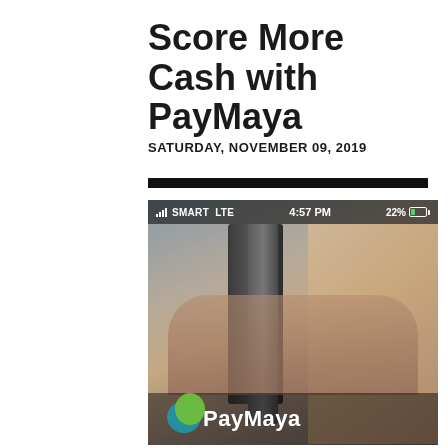Score More Cash with PayMaya
SATURDAY, NOVEMBER 09, 2019
[Figure (screenshot): Mobile app screenshot of PayMaya application showing a smartphone status bar (SMART LTE, 4:57 PM, 22% battery) overlaid on a background photo of someone at a payment terminal, with the PayMaya logo visible at the bottom]